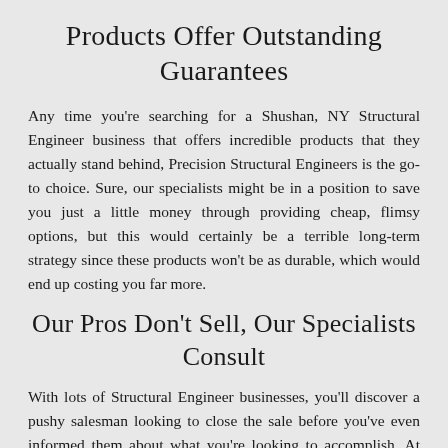Products Offer Outstanding Guarantees
Any time you're searching for a Shushan, NY Structural Engineer business that offers incredible products that they actually stand behind, Precision Structural Engineers is the go-to choice. Sure, our specialists might be in a position to save you just a little money through providing cheap, flimsy options, but this would certainly be a terrible long-term strategy since these products won't be as durable, which would end up costing you far more.
Our Pros Don’t Sell, Our Specialists Consult
With lots of Structural Engineer businesses, you’ll discover a pushy salesman looking to close the sale before you’ve even informed them about what you’re looking to accomplish. At Precision Structural Engineers, on the other hand, we take a completely different approach of actually listening to what it is you’re seeking to achieve and making recommendations